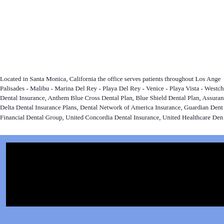Located in Santa Monica, California the office serves patients throughout Los Angeles - Pacific Palisades - Malibu - Marina Del Rey - Playa Del Rey - Venice - Playa Vista - Westchester and accepts Dental Insurance, Anthem Blue Cross Dental Plan, Blue Shield Dental Plan, Assurant Dental Insurance, Delta Dental Insurance Plans, Dental Network of America Insurance, Guardian Dental Insurance, Sun Financial Dental Group, United Concordia Dental Insurance, United Healthcare Dental Insurance
[Figure (other): Black rectangle/image block, content obscured]